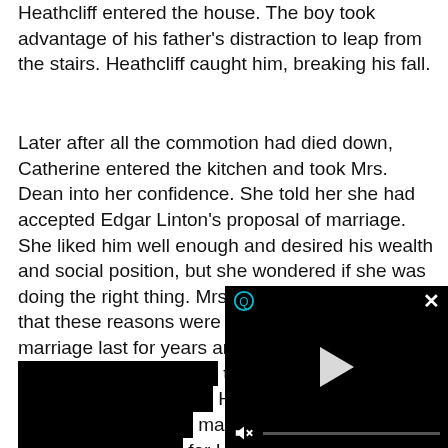Heathcliff entered the house. The boy took advantage of his father's distraction to leap from the stairs. Heathcliff caught him, breaking his fall.
Later after all the commotion had died down, Catherine entered the kitchen and took Mrs. Dean into her confidence. She told her she had accepted Edgar Linton's proposal of marriage. She liked him well enough and desired his wealth and social position, but she wondered if she was doing the right thing. Mrs. Dean counseled her that these reasons were not enough to make a marriage last for years and years. Catherine, it seems was only interested in the present, because she also confided to Mrs. Dean Heathcliff with the m... marriage. She also co... for Heathcliff. She wo... because of her broth... social standing was t...
[Figure (screenshot): A video player overlay with black background, a circular Q icon in top-left, a white X close button in top-right, a white play triangle button in the center, and a muted speaker icon with progress bar at the bottom.]